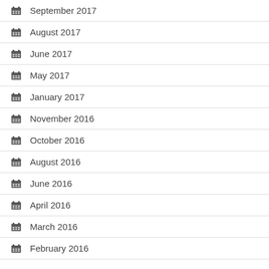September 2017
August 2017
June 2017
May 2017
January 2017
November 2016
October 2016
August 2016
June 2016
April 2016
March 2016
February 2016